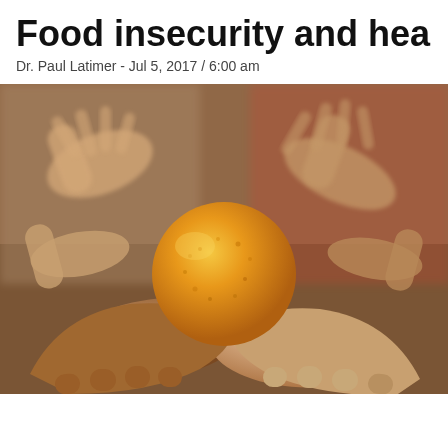Food insecurity and hea
Dr. Paul Latimer - Jul 5, 2017 / 6:00 am
[Figure (photo): Multiple hands of people reaching toward a single orange held in a pair of cupped hands in the center, photographed with shallow depth of field against a blurred background.]